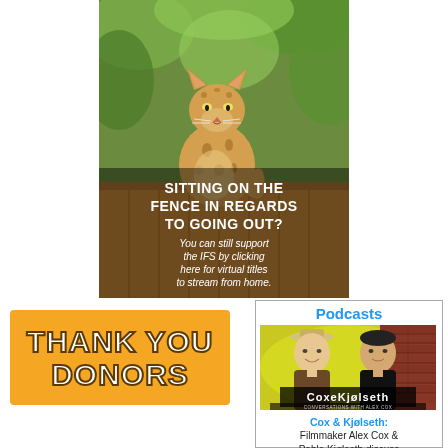[Figure (photo): A cheetah or leopard cat sitting on a wooden fence, with green foliage background. Overlaid text reads: SITTING ON THE FENCE IN REGARDS TO GOING OUT? You can still support the IFS by clicking here for virtual titles to stream from home.]
[Figure (infographic): Orange/yellow banner with bold text THANK YOU DONORS]
[Figure (infographic): Podcasts section with title 'Podcasts', image of Cox & Kjølseth podcast cover showing two men, with caption 'Cox & Kjølseth: Filmmaker Alex Cox & Pablo Kjølseth discuss film topics from their']